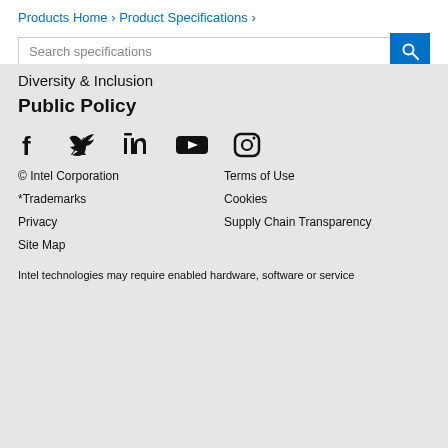Products Home › Product Specifications ›
Search specifications
Diversity & Inclusion
Public Policy
[Figure (illustration): Social media icons: Facebook, Twitter, LinkedIn, YouTube, Instagram]
© Intel Corporation
*Trademarks
Privacy
Site Map
Terms of Use
Cookies
Supply Chain Transparency
Intel technologies may require enabled hardware, software or service